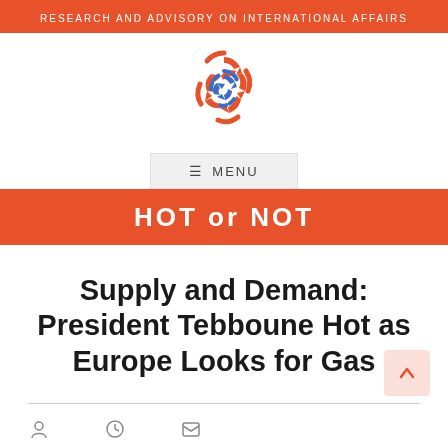RESEARCH AND ADVISORY ON INTERNATIONAL AFFAIRS
[Figure (logo): Circular logo made of orange and blue interlocking arrow shapes arranged in a ring pattern]
☰  MENU
HOT or NOT
Supply and Demand: President Tebboune Hot as Europe Looks for Gas